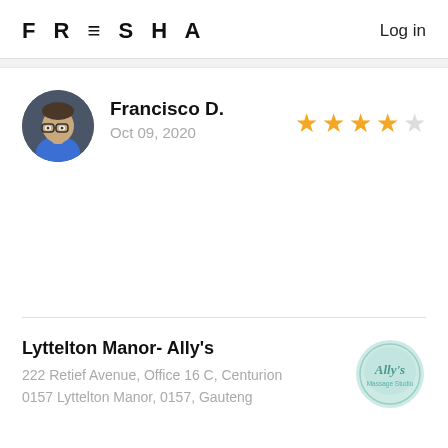FRESHA   Log in
Francisco D.
Oct 09, 2020
[Figure (other): 4 out of 5 star rating (4 filled gold stars, 1 empty star)]
[Figure (photo): Circular avatar photo of a young man with glasses wearing a blue shirt]
Lyttelton Manor- Ally's
222 Retief Avenue, Office 16 C, Centurion
0157 Lyttelton Manor, 0157, Gauteng
[Figure (logo): Ally's Massage Studio logo - circular teal/mint watercolor style with cursive text]